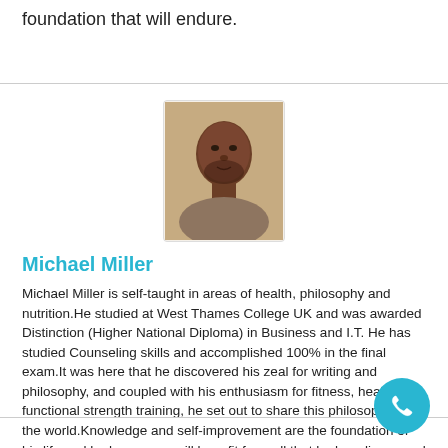foundation that will endure.
[Figure (photo): Portrait photo of Michael Miller, a man, against a neutral beige/tan background]
Michael Miller
Michael Miller is self-taught in areas of health, philosophy and nutrition.He studied at West Thames College UK and was awarded Distinction (Higher National Diploma) in Business and I.T. He has studied Counseling skills and accomplished 100% in the final exam.It was here that he discovered his zeal for writing and philosophy, and coupled with his enthusiasm for fitness, health and functional strength training, he set out to share this philosophy with the world.Knowledge and self-improvement are the foundation of his life and he hopes you will benefit from all that he has discovered on this exciting journ
[Figure (other): Cyan/teal circular phone/call button icon in bottom right corner]